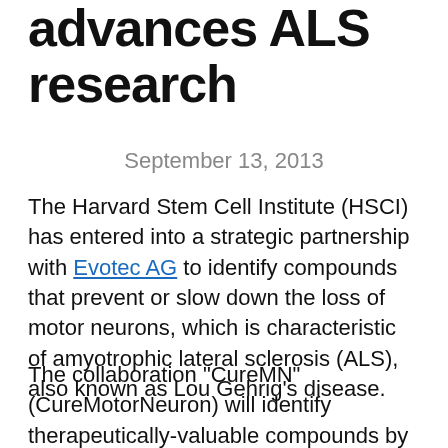advances ALS research
September 13, 2013
The Harvard Stem Cell Institute (HSCI) has entered into a strategic partnership with Evotec AG to identify compounds that prevent or slow down the loss of motor neurons, which is characteristic of amyotrophic lateral sclerosis (ALS), also known as Lou Gehrig's disease.
The collaboration "CureMN" (CureMotorNeuron) will identify therapeutically-valuable compounds by leveraging human motor neuron assays based